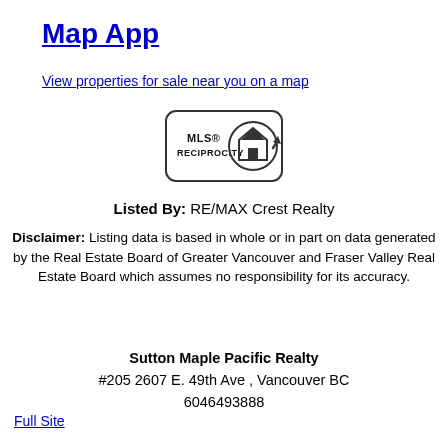Map App
View properties for sale near you on a map
[Figure (logo): MLS Reciprocity logo with house icon in a rounded rectangle]
Listed By: RE/MAX Crest Realty
Disclaimer: Listing data is based in whole or in part on data generated by the Real Estate Board of Greater Vancouver and Fraser Valley Real Estate Board which assumes no responsibility for its accuracy.
Sutton Maple Pacific Realty #205 2607 E. 49th Ave , Vancouver BC 6046493888
Full Site